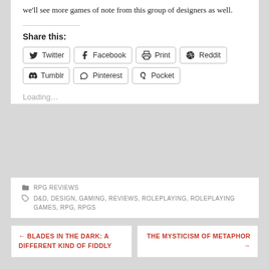we'll see more games of note from this group of designers as well.
Share this:
[Figure (other): Share buttons: Twitter, Facebook, Print, Reddit, Tumblr, Pinterest, Pocket]
Loading…
RPG REVIEWS
D&D, DESIGN, GAMING, REVIEWS, ROLEPLAYING, ROLEPLAYING GAMES, RPG, RPGS
← BLADES IN THE DARK: A DIFFERENT KIND OF FIDDLY
THE MYSTICISM OF METAPHOR →